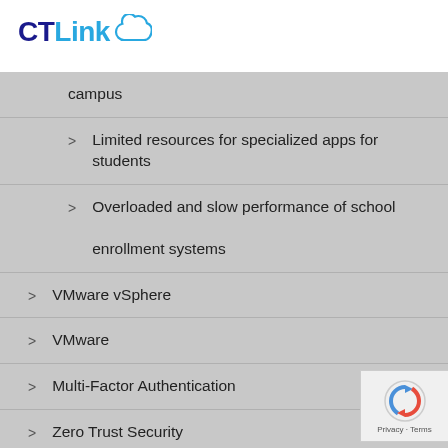[Figure (logo): CTLink logo with cloud icon — CT in dark navy blue, Link in light blue, with a cloud outline above the 'k']
campus
Limited resources for specialized apps for students
Overloaded and slow performance of school enrollment systems
VMware vSphere
VMware
Multi-Factor Authentication
Zero Trust Security
SASE Service Provider In The Philippines: CT Link
Secure Remote Access Solutions In The Philippines: CT Link